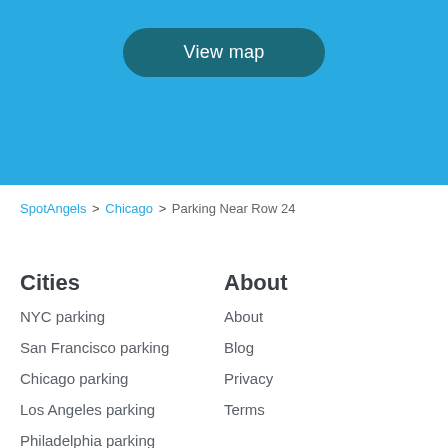[Figure (other): Blue banner section with a 'View map' button in dark teal/rounded rectangle style on a sky blue background]
SpotAngels > Chicago > Parking Near Row 24
Cities
NYC parking
San Francisco parking
Chicago parking
Los Angeles parking
Philadelphia parking
About
About
Blog
Privacy
Terms